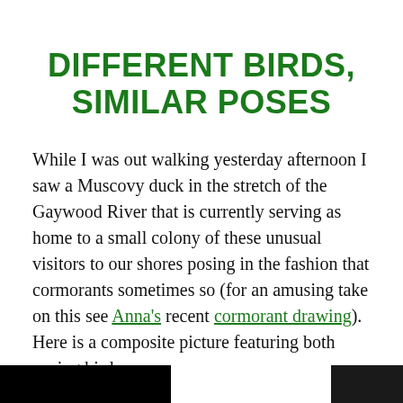DIFFERENT BIRDS, SIMILAR POSES
While I was out walking yesterday afternoon I saw a Muscovy duck in the stretch of the Gaywood River that is currently serving as home to a small colony of these unusual visitors to our shores posing in the fashion that cormorants sometimes so (for an amusing take on this see Anna's recent cormorant drawing). Here is a composite picture featuring both posing birds:
[Figure (photo): Bottom edge of page showing two dark photographs side by side, partially cropped — left image is larger and dark/black, right image is smaller and dark.]